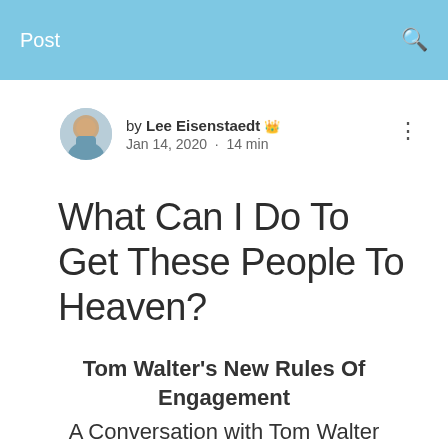Post
by Lee Eisenstaedt
Jan 14, 2020 · 14 min
What Can I Do To Get These People To Heaven?
Tom Walter's New Rules Of Engagement
A Conversation with Tom Walter
Chief Culture Officer, Tasty Catering